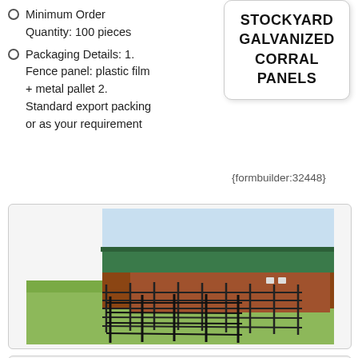Minimum Order Quantity: 100 pieces
Packaging Details: 1. Fence panel: plastic film + metal pallet 2. Standard export packing or as your requirement
STOCKYARD GALVANIZED CORRAL PANELS
{formbuilder:32448}
[Figure (photo): Photo of galvanized corral fence panels around a farm building with green roof, showing metal rail panels on grass.]
[Figure (photo): Photo of galvanized corral panels or gates loaded inside a shipping container.]